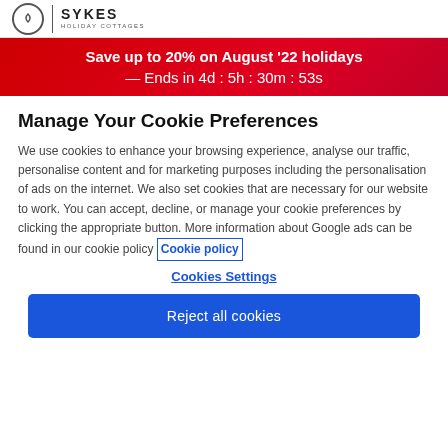SYKES HOLIDAY COTTAGES
Save up to 20% on August '22 holidays — Ends in 4d : 5h : 30m : 53s
Manage Your Cookie Preferences
We use cookies to enhance your browsing experience, analyse our traffic, personalise content and for marketing purposes including the personalisation of ads on the internet. We also set cookies that are necessary for our website to work. You can accept, decline, or manage your cookie preferences by clicking the appropriate button. More information about Google ads can be found in our cookie policy Cookie policy
Cookies Settings
Reject all cookies